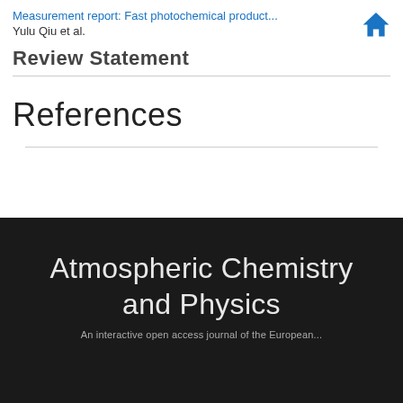Measurement report: Fast photochemical product...
Yulu Qiu et al.
Review Statement
References
Atmospheric Chemistry and Physics
An interactive open access journal of the European...